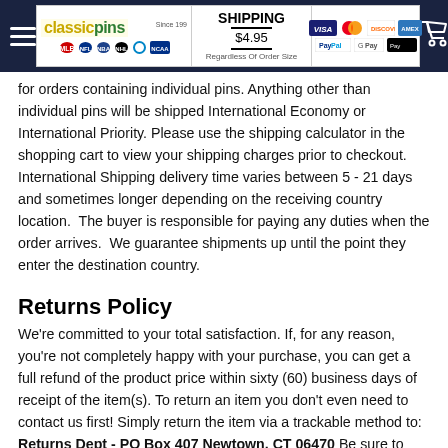ClassicPins header with hamburger menu, logo, shipping info ($4.95), payment icons, and cart
for orders containing individual pins. Anything other than individual pins will be shipped International Economy or International Priority. Please use the shipping calculator in the shopping cart to view your shipping charges prior to checkout.  International Shipping delivery time varies between 5 - 21 days and sometimes longer depending on the receiving country location.  The buyer is responsible for paying any duties when the order arrives.  We guarantee shipments up until the point they enter the destination country.
Returns Policy
We're committed to your total satisfaction. If, for any reason, you're not completely happy with your purchase, you can get a full refund of the product price within sixty (60) business days of receipt of the item(s). To return an item you don't even need to contact us first! Simply return the item via a trackable method to: Returns Dept - PO Box 407 Newtown, CT 06470 Be sure to either include your packing slip or write your order number on the outside of the package to ensure a prompt credit! To